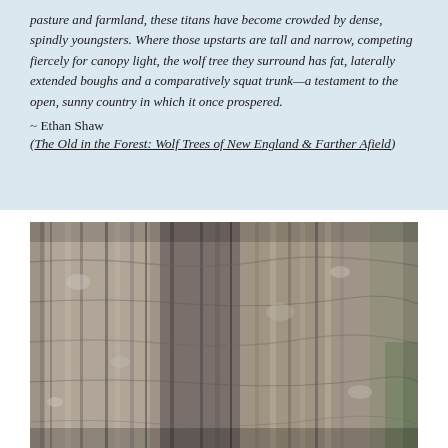pasture and farmland, these titans have become crowded by dense, spindly youngsters. Where those upstarts are tall and narrow, competing fiercely for canopy light, the wolf tree they surround has fat, laterally extended boughs and a comparatively squat trunk—a testament to the open, sunny country in which it once prospered.
~ Ethan Shaw
(The Old in the Forest: Wolf Trees of New England & Farther Afield)
[Figure (photo): Close-up photograph of rough, deeply furrowed tree bark with lichen, showing grey and dark tones, with some greenish moss at the right edge.]